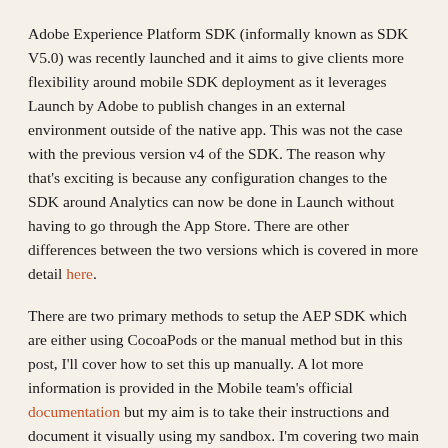Adobe Experience Platform SDK (informally known as SDK V5.0) was recently launched and it aims to give clients more flexibility around mobile SDK deployment as it leverages Launch by Adobe to publish changes in an external environment outside of the native app. This was not the case with the previous version v4 of the SDK. The reason why that's exciting is because any configuration changes to the SDK around Analytics can now be done in Launch without having to go through the App Store. There are other differences between the two versions which is covered in more detail here.
There are two primary methods to setup the AEP SDK which are either using CocoaPods or the manual method but in this post, I'll cover how to set this up manually. A lot more information is provided in the Mobile team's official documentation but my aim is to take their instructions and document it visually using my sandbox. I'm covering two main components of this setup which leverage Launch by Adobe and XCode (V10) to setup the SDK.
Launch by Adobe Setup